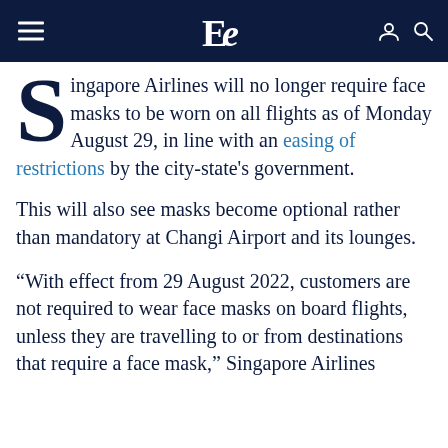Evening Standard (logo header with hamburger menu and user/search icons)
Singapore Airlines will no longer require face masks to be worn on all flights as of Monday August 29, in line with an easing of restrictions by the city-state's government.
This will also see masks become optional rather than mandatory at Changi Airport and its lounges.
“With effect from 29 August 2022, customers are not required to wear face masks on board flights, unless they are travelling to or from destinations that require a face mask,” Singapore Airlines